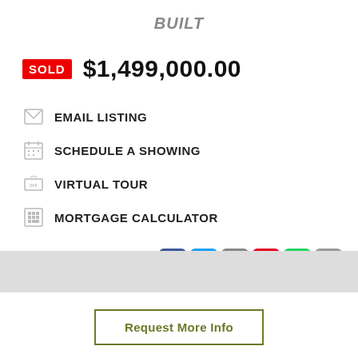BUILT
SOLD $1,499,000.00
EMAIL LISTING
SCHEDULE A SHOWING
VIRTUAL TOUR
MORTGAGE CALCULATOR
DETAILS
Request More Info